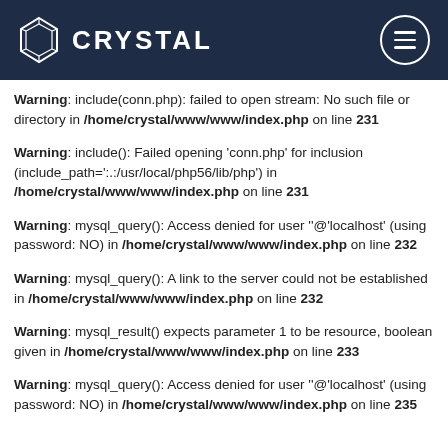CRYSTAL
Warning: include(conn.php): failed to open stream: No such file or directory in /home/crystal/www/www/index.php on line 231
Warning: include(): Failed opening 'conn.php' for inclusion (include_path=':.:/usr/local/php56/lib/php') in /home/crystal/www/www/index.php on line 231
Warning: mysql_query(): Access denied for user ''@'localhost' (using password: NO) in /home/crystal/www/www/index.php on line 232
Warning: mysql_query(): A link to the server could not be established in /home/crystal/www/www/index.php on line 232
Warning: mysql_result() expects parameter 1 to be resource, boolean given in /home/crystal/www/www/index.php on line 233
Warning: mysql_query(): Access denied for user ''@'localhost' (using password: NO) in /home/crystal/www/www/index.php on line 235